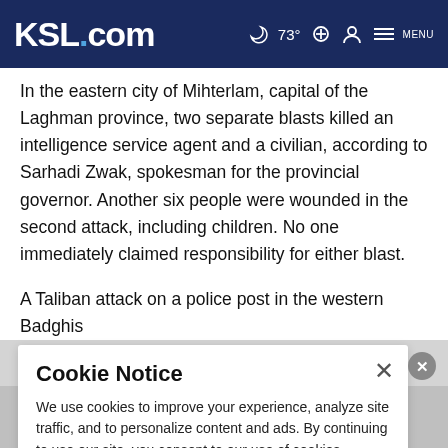KSL.com  ☽ 73° 🔍 👤 MENU
In the eastern city of Mihterlam, capital of the Laghman province, two separate blasts killed an intelligence service agent and a civilian, according to Sarhadi Zwak, spokesman for the provincial governor. Another six people were wounded in the second attack, including children. No one immediately claimed responsibility for either blast.
A Taliban attack on a police post in the western Badghis
Cookie Notice
We use cookies to improve your experience, analyze site traffic, and to personalize content and ads. By continuing to use our site, you consent to our use of cookies. Please visit our Terms of Use and  Privacy Policy for more information.